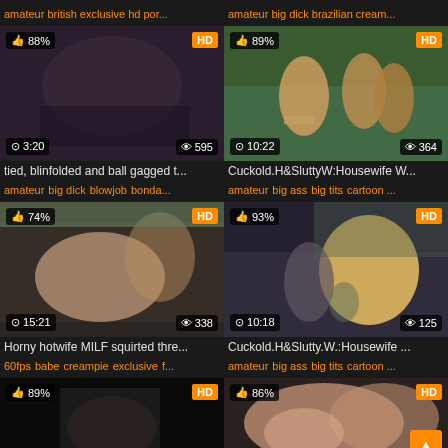amateur british exclusive hd por... | amateur big dick brazilian cream...
[Figure (screenshot): Video thumbnail: tied, blinfolded and ball gagged, 88% like, HD, 3:20 duration, 595 views]
tied, blinfolded and ball gagged t...
amateur big dick blowjob bonda...
[Figure (screenshot): Video thumbnail: Cuckold H&SluttyW:Housewife W..., 89% like, HD, 10:22 duration, 364 views, animated/cartoon]
Cuckold.H&SluttyW:Housewife W...
amateur big ass big tits cartoon ...
[Figure (screenshot): Video thumbnail: Horny hotwife MILF squirted thre..., 74% like, HD, 15:21 duration, 338 views]
Horny hotwife MILF squirted thre...
60fps babe creampie exclusive f...
[Figure (screenshot): Video thumbnail: Cuckold.H&Slutty.W.:Housewife ..., 93% like, HD, 10:18 duration, 125 views, animated]
Cuckold.H&Slutty.W.:Housewife ...
amateur big ass big tits cartoon ...
[Figure (screenshot): Video thumbnail: partial view, 89% like, HD]
[Figure (screenshot): Video thumbnail: partial view, 86% like, HD]